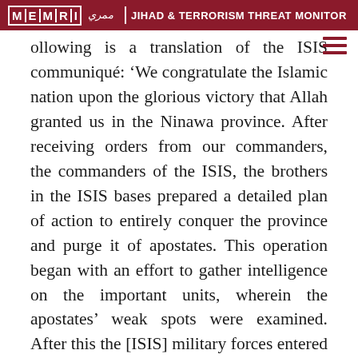MEMRI | JIHAD & TERRORISM THREAT MONITOR
Following is a translation of the ISIS communiqué: 'We congratulate the Islamic nation upon the glorious victory that Allah granted us in the Ninawa province. After receiving orders from our commanders, the commanders of the ISIS, the brothers in the ISIS bases prepared a detailed plan of action to entirely conquer the province and purge it of apostates. This operation began with an effort to gather intelligence on the important units, wherein the apostates' weak spots were examined. After this the [ISIS] military forces entered Mosul from several routes. With Allah's grace, [ISIS] gained total control of their [the Iraqi military's] bases, among them the Ghazlani headquarters